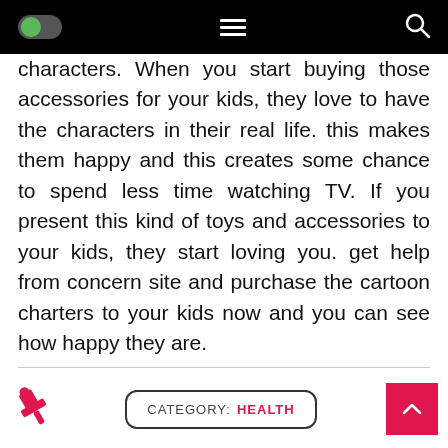[navigation bar with toggle, hamburger menu, search icon]
characters. When you start buying those accessories for your kids, they love to have the characters in their real life. this makes them happy and this creates some chance to spend less time watching TV. If you present this kind of toys and accessories to your kids, they start loving you. get help from concern site and purchase the cartoon charters to your kids now and you can see how happy they are.
CATEGORY: HEALTH